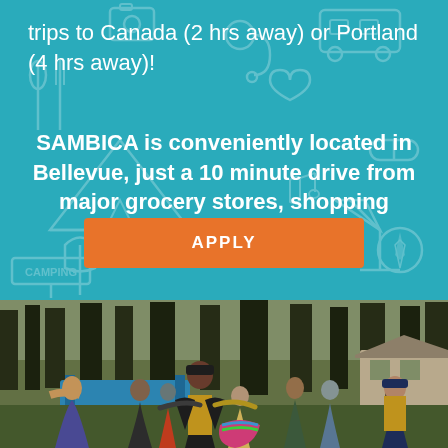trips to Canada (2 hrs away) or Portland (4 hrs away)!
SAMBICA is conveniently located in Bellevue, just a 10 minute drive from major grocery stores, shopping centers, and churches.
APPLY
[Figure (photo): Group of people in athletic/camp activity outdoors, wearing yellow vests over dark clothing, in a wooded area with trees in the background and a building visible to the right.]